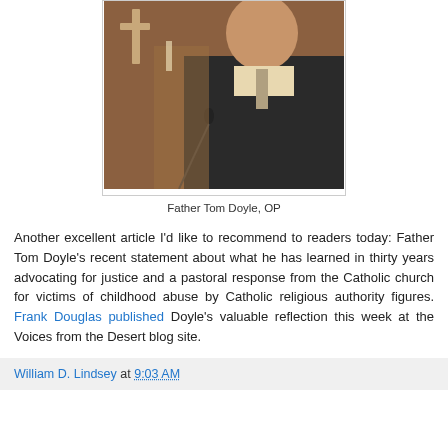[Figure (photo): Photograph of Father Tom Doyle, OP, standing at a microphone, wearing a dark suit with a tie, in front of a church interior with a crucifix visible in the background.]
Father Tom Doyle, OP
Another excellent article I'd like to recommend to readers today: Father Tom Doyle's recent statement about what he has learned in thirty years advocating for justice and a pastoral response from the Catholic church for victims of childhood abuse by Catholic religious authority figures. Frank Douglas published Doyle's valuable reflection this week at the Voices from the Desert blog site.
William D. Lindsey at 9:03 AM